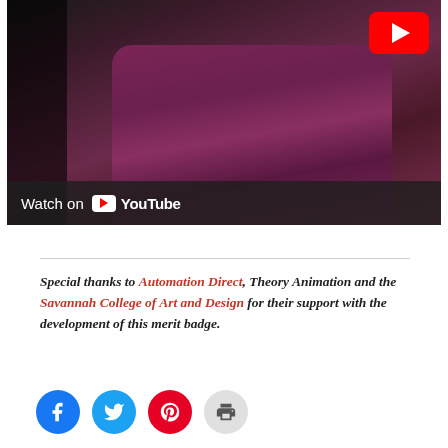[Figure (screenshot): YouTube video thumbnail showing a person in a dark maroon/purple shirt. A red YouTube play button is in the top-right corner. A 'Watch on YouTube' bar appears at the bottom of the video.]
Special thanks to Automation Direct, Theory Animation and the Savannah College of Art and Design for their support with the development of this merit badge.
[Figure (infographic): Row of four social sharing icon buttons: Facebook (blue circle with f), Twitter (blue circle with bird), Pinterest (red circle with P), and Print (gray circle with printer icon).]